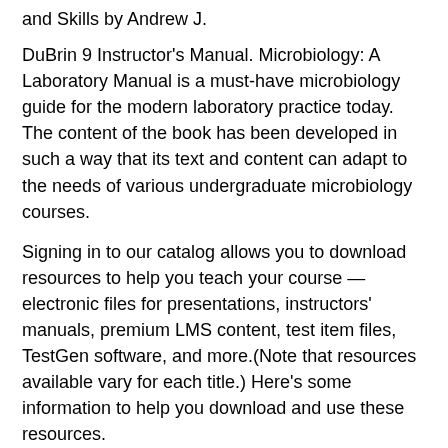and Skills by Andrew J.
DuBrin 9 Instructor's Manual. Microbiology: A Laboratory Manual is a must-have microbiology guide for the modern laboratory practice today. The content of the book has been developed in such a way that its text and content can adapt to the needs of various undergraduate microbiology courses.
Signing in to our catalog allows you to download resources to help you teach your course — electronic files for presentations, instructors' manuals, premium LMS content, test item files, TestGen software, and more.(Note that resources available vary for each title.) Here's some information to help you download and use these resources.
Microbiology with Diseases by Body System, 3rd Edition Study Aid $ $ Grab it. ❶ Sale. Latest Nester's Microbiology: A Human Perspective, 8th Edition $ $ Grab it. ❶ Sale. Foundations in Microbiology, 9th Edition Study Aid $ $ Grab it. ❶ Sale.
Microbiology: A Human Perspective. FREE Chapter 1 The Microbial World and You FREE Chapter 2 Chemical Principles FREE Chapter 3